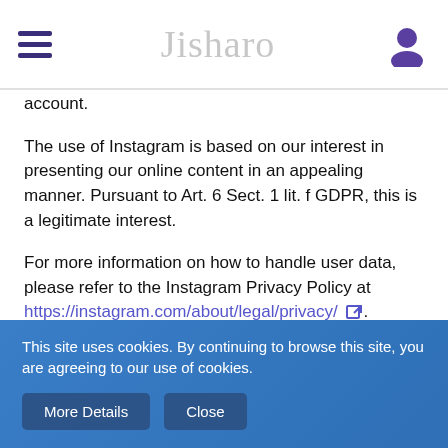Jisharo [logo]
account.
The use of Instagram is based on our interest in presenting our online content in an appealing manner. Pursuant to Art. 6 Sect. 1 lit. f GDPR, this is a legitimate interest.
For more information on how to handle user data, please refer to the Instagram Privacy Policy at https://instagram.com/about/legal/privacy/.
Imgur
Our website uses plug-ins provided by Imgur. The provider is Imgur, Inc., 415 Jackson Street, 2nd Floor, Suite 200, San Francisco, CA 94111, USA
This site uses cookies. By continuing to browse this site, you are agreeing to our use of cookies.